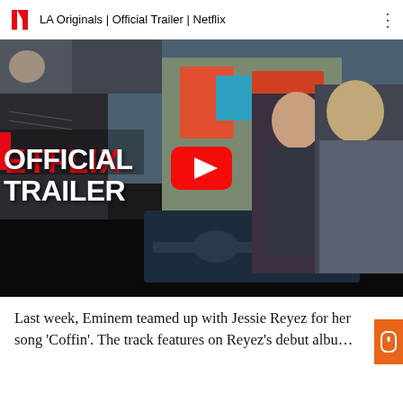[Figure (screenshot): YouTube embed showing Netflix 'LA Originals | Official Trailer | Netflix' video. Top bar has Netflix logo, title text, and three-dot menu. Thumbnail shows two men in front of graffiti and a vintage car with 'OFFICIAL TRAILER' text overlaid in white, plus a red YouTube play button in center.]
Last week, Eminem teamed up with Jessie Reyez for her song 'Coffin'. The track features on Reyez's debut albu...